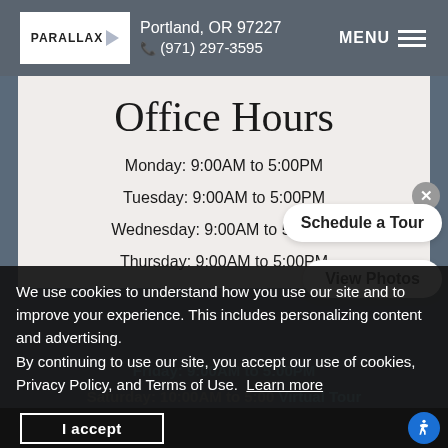PARALLAX | Portland, OR 97227 | (971) 297-3595 | MENU
Office Hours
Monday: 9:00AM to 5:00PM
Tuesday: 9:00AM to 5:00PM
Wednesday: 9:00AM to 5:00PM
Thursday: 9:00AM to 5:00PM
Friday: 9:00AM to 5:00PM
Saturday: 10:00AM to 5:00PM
Sunday: By Appointment
We use cookies to understand how you use our site and to improve your experience. This includes personalizing content and advertising. By continuing to use our site, you accept our use of cookies, Privacy Policy, and Terms of Use. Learn more
I accept